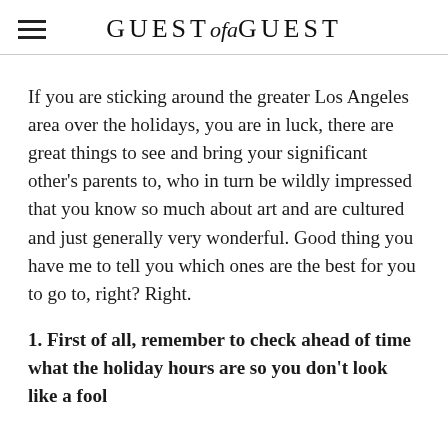GUEST of a GUEST
If you are sticking around the greater Los Angeles area over the holidays, you are in luck, there are great things to see and bring your significant other's parents to, who in turn be wildly impressed that you know so much about art and are cultured and just generally very wonderful. Good thing you have me to tell you which ones are the best for you to go to, right? Right.
1. First of all, remember to check ahead of time what the holiday hours are so you don't look like a fool when you show up and it is closed...